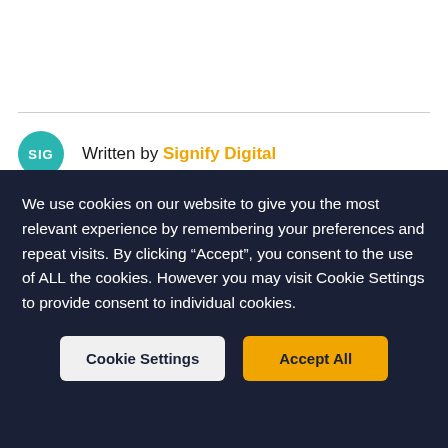Written by Signify Digital
We use cookies on our website to give you the most relevant experience by remembering your preferences and repeat visits. By clicking “Accept”, you consent to the use of ALL the cookies. However you may visit Cookie Settings to provide consent to individual cookies.
Cookie Settings
Accept All